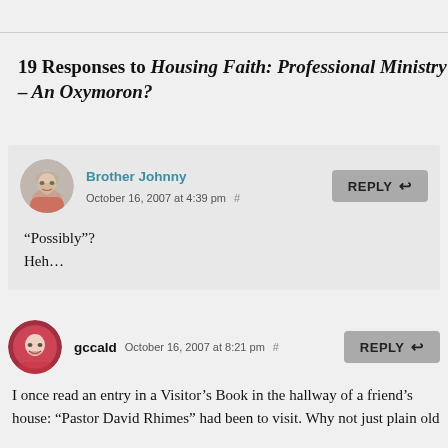19 Responses to Housing Faith: Professional Ministry – An Oxymoron?
Brother Johnny  October 16, 2007 at 4:39 pm #  REPLY
“Possibly”?
Heh…
gccald  October 16, 2007 at 8:21 pm #  REPLY

I once read an entry in a Visitor’s Book in the hallway of a friend’s house: “Pastor David Rhimes” had been to visit. Why not just plain old